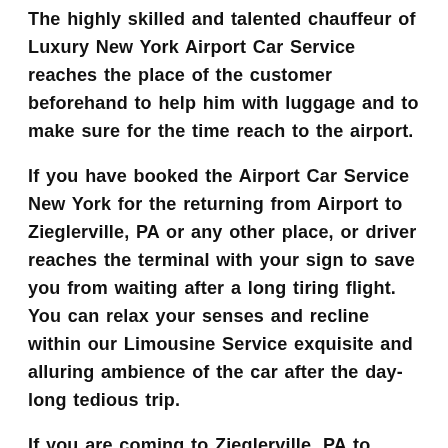The highly skilled and talented chauffeur of Luxury New York Airport Car Service reaches the place of the customer beforehand to help him with luggage and to make sure for the time reach to the airport.
If you have booked the Airport Car Service New York for the returning from Airport to Zieglerville, PA or any other place, or driver reaches the terminal with your sign to save you from waiting after a long tiring flight. You can relax your senses and recline within our Limousine Service exquisite and alluring ambience of the car after the day-long tedious trip.
If you are coming to Zieglerville, PA to attend the corporate meetings or business transactions, we at New York Airport Limo Service yield you the most